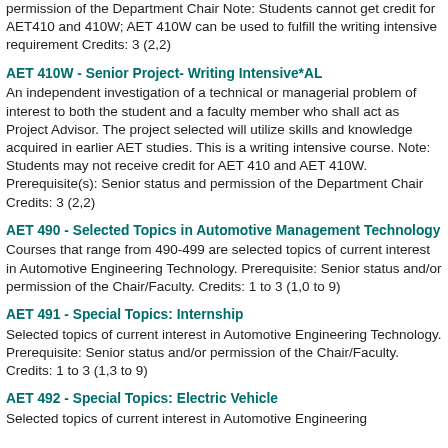permission of the Department Chair Note: Students cannot get credit for AET410 and 410W; AET 410W can be used to fulfill the writing intensive requirement Credits: 3 (2,2)
AET 410W - Senior Project- Writing Intensive*AL
An independent investigation of a technical or managerial problem of interest to both the student and a faculty member who shall act as Project Advisor. The project selected will utilize skills and knowledge acquired in earlier AET studies. This is a writing intensive course. Note: Students may not receive credit for AET 410 and AET 410W. Prerequisite(s): Senior status and permission of the Department Chair Credits: 3 (2,2)
AET 490 - Selected Topics in Automotive Management Technology
Courses that range from 490-499 are selected topics of current interest in Automotive Engineering Technology. Prerequisite: Senior status and/or permission of the Chair/Faculty. Credits: 1 to 3 (1,0 to 9)
AET 491 - Special Topics: Internship
Selected topics of current interest in Automotive Engineering Technology. Prerequisite: Senior status and/or permission of the Chair/Faculty. Credits: 1 to 3 (1,3 to 9)
AET 492 - Special Topics: Electric Vehicle
Selected topics of current interest in Automotive Engineering